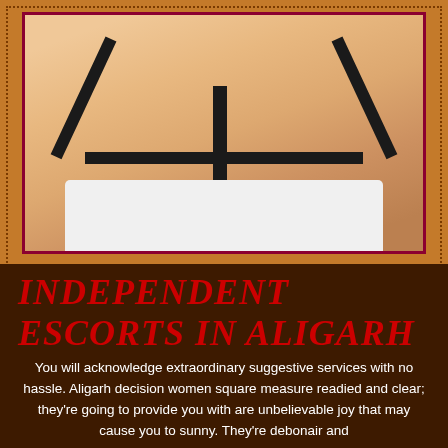[Figure (photo): Close-up photo of a woman wearing a black strappy harness top over a white garment, cropped to show torso and partial face]
INDEPENDENT ESCORTS IN ALIGARH
You will acknowledge extraordinary suggestive services with no hassle. Aligarh decision women square measure readied and clear; they're going to provide you with are unbelievable joy that may cause you to sunny. They're debonair and